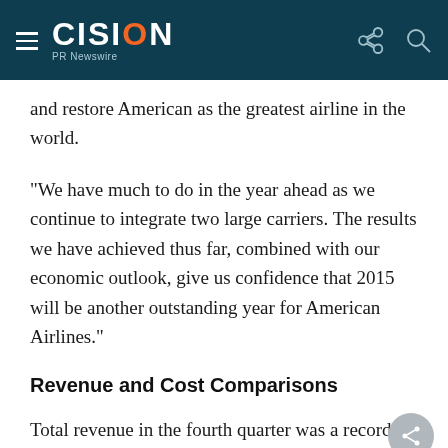CISION PR Newswire
and restore American as the greatest airline in the world.
"We have much to do in the year ahead as we continue to integrate two large carriers. The results we have achieved thus far, combined with our economic outlook, give us confidence that 2015 will be another outstanding year for American Airlines."
Revenue and Cost Comparisons
Total revenue in the fourth quarter was a record $ billion, an increase of 2.1 percent versus the fourth